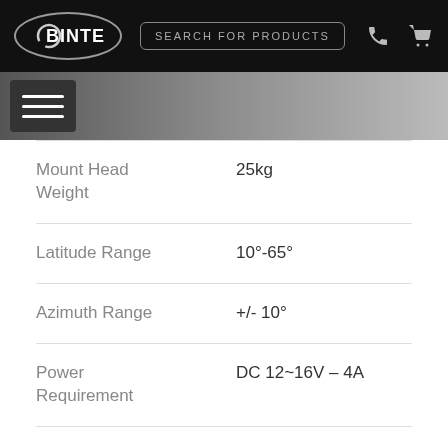BINTEL — Search for Products
| Specification | Value |
| --- | --- |
| Mount Head Weight | 25kg |
| Latitude Range | 10°-65° |
| Azimuth Range | +/- 10° |
| Power Requirement | DC 12~16V – 4A |
| Pointing Accuracy | up 5 arc. min. |